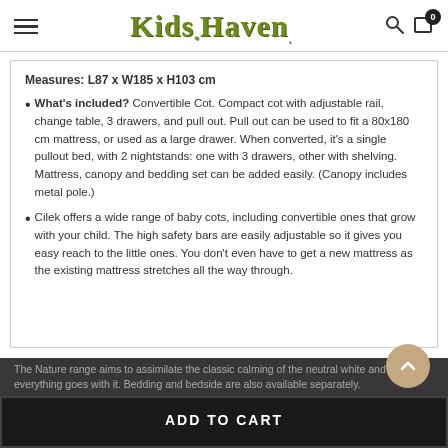Kids Haven
Measures: L87 x W185 x H103 cm
What's included? Convertible Cot. Compact cot with adjustable rail, change table, 3 drawers, and pull out. Pull out can be used to fit a 80x180 cm mattress, or used as a large drawer. When converted, it's a single pullout bed, with 2 nightstands: one with 3 drawers, other with shelving. Mattress, canopy and bedding set can be added easily. (Canopy includes metal pole.)
Cilek offers a wide range of baby cots, including convertible ones that grow with your child. The high safety bars are easily adjustable so it gives you easy reach to the little ones. You don't even have to get a new mattress as the existing mattress stretches all the way through.
ADD TO CART